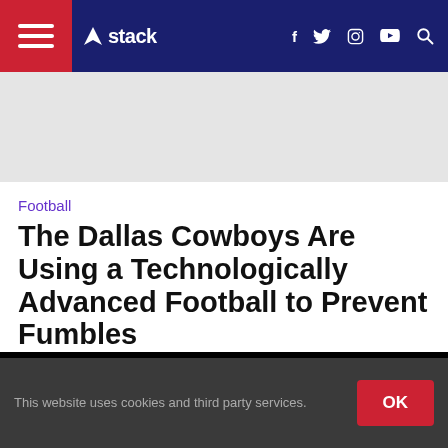stack — navigation bar with hamburger menu, logo, social icons (f, twitter, instagram, youtube), search
[Figure (other): Gray advertisement/banner placeholder area]
Football
The Dallas Cowboys Are Using a Technologically Advanced Football to Prevent Fumbles
By Rob Scott   Published On: 2016-05-31
[Figure (photo): Black media area (video or image placeholder)]
This website uses cookies and third party services.